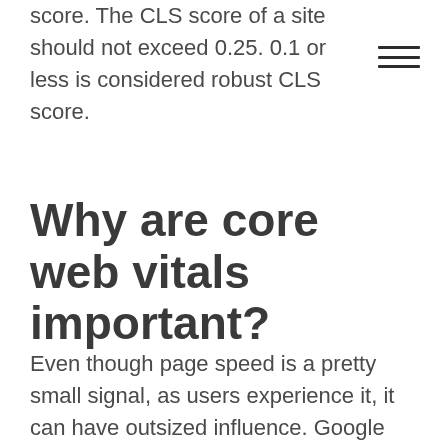score. The CLS score of a site should not exceed 0.25. 0.1 or less is considered robust CLS score.
Why are core web vitals important?
Even though page speed is a pretty small signal, as users experience it, it can have outsized influence. Google had shown, for example, that for pages meeting the core web vitals threshold, visitors are 24% less likely to abandon the site. You...